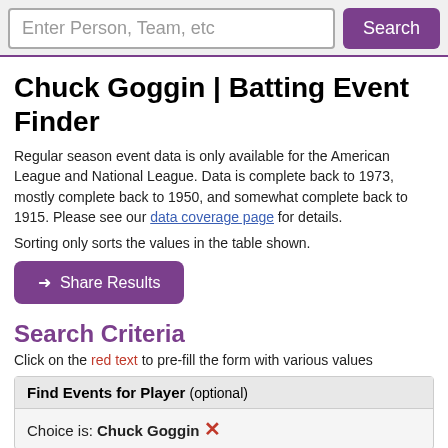Enter Person, Team, etc  Search
Chuck Goggin | Batting Event Finder
Regular season event data is only available for the American League and National League. Data is complete back to 1973, mostly complete back to 1950, and somewhat complete back to 1915. Please see our data coverage page for details.
Sorting only sorts the values in the table shown.
➜ Share Results
Search Criteria
Click on the red text to pre-fill the form with various values
| Find Events for Player (optional) |
| --- |
| Choice is: Chuck Goggin ✕ |
Seasons